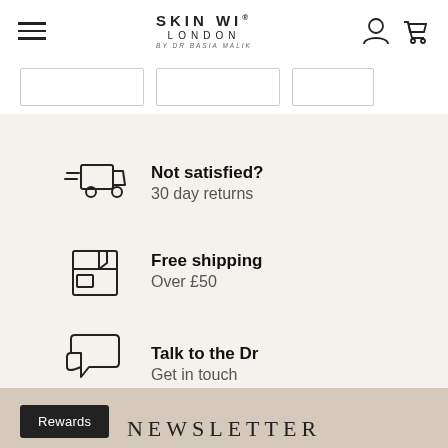SKIN WI LONDON BY DR BASIA MALIK
[Figure (infographic): Three feature rows on a light beige background: 1) delivery/returns truck icon with 'Not satisfied? 30 day returns'; 2) package/box icon with 'Free shipping Over £50'; 3) chat bubbles icon with 'Talk to the Dr Get in touch']
Not satisfied?
30 day returns
Free shipping
Over £50
Talk to the Dr
Get in touch
NEWSLETTER
Rewards